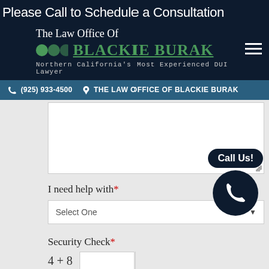Please Call to Schedule a Consultation
[Figure (logo): The Law Office Of Blackie Burak logo with green dots and name, tagline: Northern California's Most Experienced DUI Lawyer]
(925) 933-4500  THE LAW OFFICE OF BLACKIE BURAK
I need help with *
Select One
Call Us!
Security Check *
4 + 8